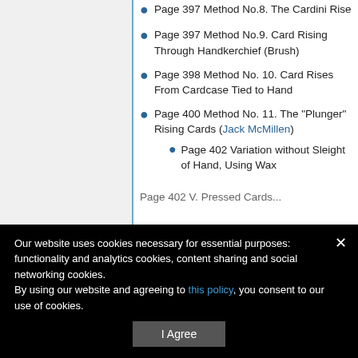Page 397 Method No.8. The Cardini Rise
Page 397 Method No.9. Card Rising Through Handkerchief (Brush)
Page 398 Method No. 10. Card Rises From Cardcase Tied to Hand
Page 400 Method No. 11. The "Plunger" Rising Cards (Jack McMillen)
Page 402 Variation without Sleight of Hand, Using Wax
Page 402 V. Pressed Cards...
Our website uses cookies necessary for essential purposes: functionality and analytics cookies, content sharing and social networking cookies. By using our website and agreeing to this policy, you consent to our use of cookies.
I Agree